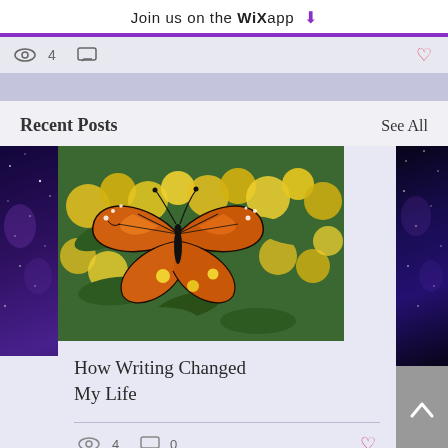Join us on the WiX app ⬇
4 views, comment icon
Recent Posts
See All
[Figure (photo): Monarch butterfly on yellow flowers]
How Writing Changed My Life
4 views, 0 comments, heart icon